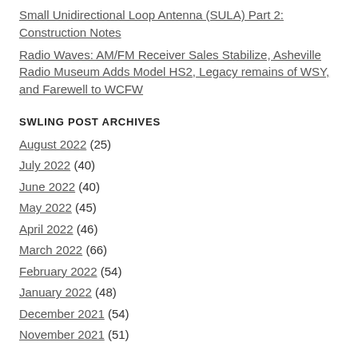Small Unidirectional Loop Antenna (SULA) Part 2: Construction Notes
Radio Waves: AM/FM Receiver Sales Stabilize, Asheville Radio Museum Adds Model HS2, Legacy remains of WSY, and Farewell to WCFW
SWLING POST ARCHIVES
August 2022 (25)
July 2022 (40)
June 2022 (40)
May 2022 (45)
April 2022 (46)
March 2022 (66)
February 2022 (54)
January 2022 (48)
December 2021 (54)
November 2021 (51)